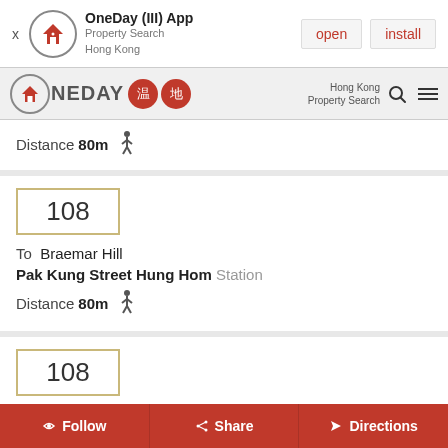[Figure (screenshot): App install banner for OneDay (III) App - Property Search Hong Kong, with open and install buttons]
[Figure (logo): OneDay property search Hong Kong logo with navigation bar showing search and menu icons]
Distance 80m [walking icon]
108
To  Braemar Hill
Pak Kung Street Hung Hom Station
Distance 80m [walking icon]
108
To KAI YIP
Follow  Share  Directions